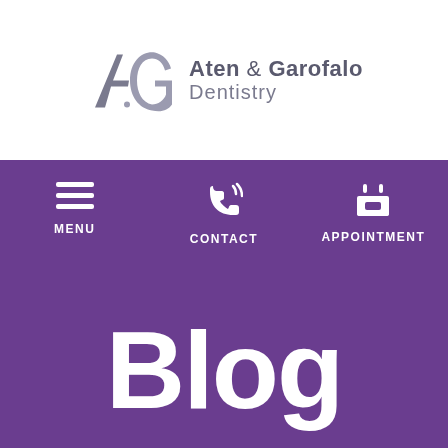[Figure (logo): Aten & Garofalo Dentistry logo with AG monogram in gray/purple on white background]
[Figure (screenshot): Mobile navigation bar on purple background with Menu (hamburger icon), Contact (phone icon), and Appointment (calendar icon)]
Blog